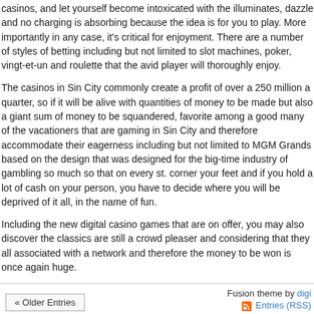casinos, and let yourself become intoxicated with the illuminates, dazzle and no cha... is absorbing because the idea is for you to play. More importantly in any case, it's cri... enjoyment. There are a number of styles of betting including but not limited to slot ma... poker, vingt-et-un and roulette that the avid player will thoroughly enjoy.
The casinos in Sin City commonly create a profit of over a 250 million a quarter, so if... be alive with quantities of money to be made but also a giant sum of money to be sq... favorite among a good many of the vacationers that are gaming in Sin City and there... accommodate their eagerness including but not limited to MGM Grands based on the... that was designed for the big-time industry of gambling so much so that on every st.... your feet and if you hold a lot of cash on your person, you have to decide where you... deprived of it all, in the name of fun.
Including the new digital casino games that are on offer, you may also discover the c... still a crowd pleaser and considering that they all associated with a network and ther... money to be won is once again huge.
« Older Entries
Fusion theme by dig... Entries (RS...